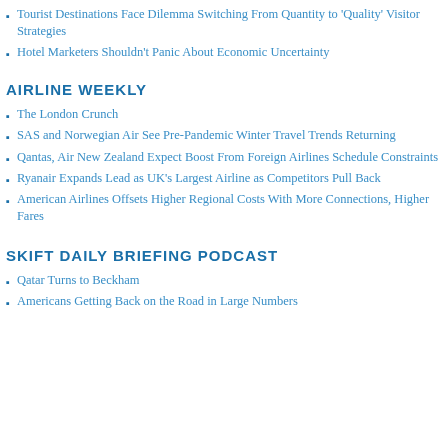Tourist Destinations Face Dilemma Switching From Quantity to 'Quality' Visitor Strategies
Hotel Marketers Shouldn't Panic About Economic Uncertainty
AIRLINE WEEKLY
The London Crunch
SAS and Norwegian Air See Pre-Pandemic Winter Travel Trends Returning
Qantas, Air New Zealand Expect Boost From Foreign Airlines Schedule Constraints
Ryanair Expands Lead as UK's Largest Airline as Competitors Pull Back
American Airlines Offsets Higher Regional Costs With More Connections, Higher Fares
SKIFT DAILY BRIEFING PODCAST
Qatar Turns to Beckham
Americans Getting Back on the Road in Large Numbers